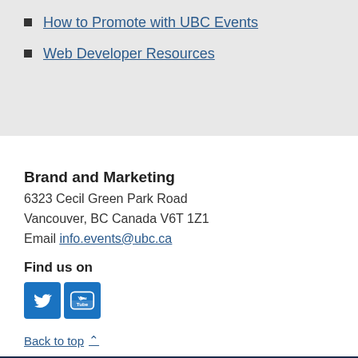How to Promote with UBC Events
Web Developer Resources
Brand and Marketing
6323 Cecil Green Park Road
Vancouver, BC Canada V6T 1Z1
Email info.events@ubc.ca
Find us on
[Figure (logo): Twitter and YouTube social media icon buttons in blue]
Back to top
THE UNIVERSITY OF BRITISH COLUMBIA
About UBC